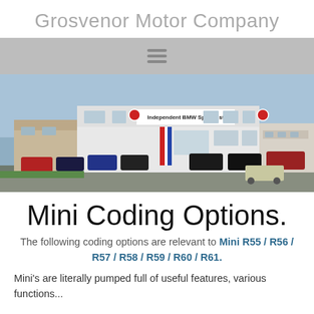Grosvenor Motor Company
[Figure (photo): Exterior photograph of Grosvenor Motor Company, an independent BMW Specialist garage with cars parked in the forecourt]
Mini Coding Options.
The following coding options are relevant to Mini R55 / R56 / R57 / R58 / R59 / R60 / R61.
Mini's are literally pumped full of useful features, various functions...